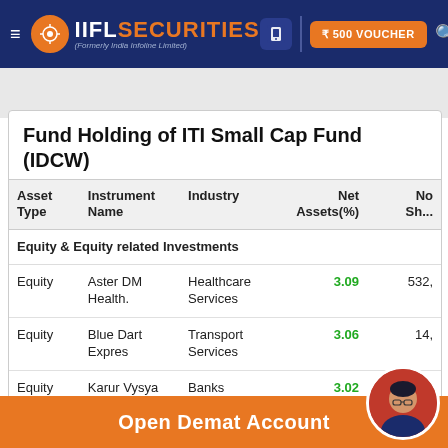IIFL SECURITIES (Formerly India Infoline Limited) — ₹500 VOUCHER
Fund Holding of ITI Small Cap Fund (IDCW)
| Asset Type | Instrument Name | Industry | Net Assets(%) | No. Sh... |
| --- | --- | --- | --- | --- |
| Equity & Equity related Investments |  |  |  |  |
| Equity | Aster DM Health. | Healthcare Services | 3.09 | 532,... |
| Equity | Blue Dart Expres | Transport Services | 3.06 | 14,... |
| Equity | Karur Vysya Bank | Banks | 3.02 | 2,036,... |
| Equity | Wonderla Holiday | Leisure Services | 2.96 | 487,... |
| Equity | TTK Prestige | Consumer Durables | 2.77 |  |
Open Demat Account